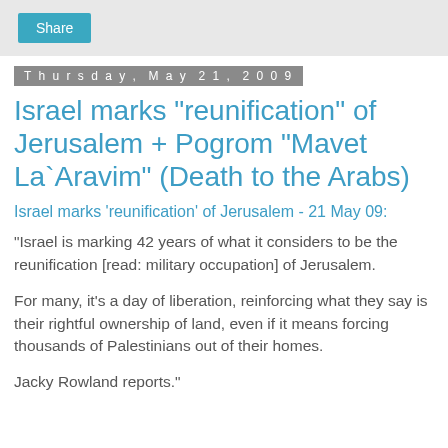Share
Thursday, May 21, 2009
Israel marks "reunification" of Jerusalem + Pogrom "Mavet La`Aravim" (Death to the Arabs)
Israel marks 'reunification' of Jerusalem - 21 May 09:
"Israel is marking 42 years of what it considers to be the reunification [read: military occupation] of Jerusalem.
For many, it's a day of liberation, reinforcing what they say is their rightful ownership of land, even if it means forcing thousands of Palestinians out of their homes.
Jacky Rowland reports."